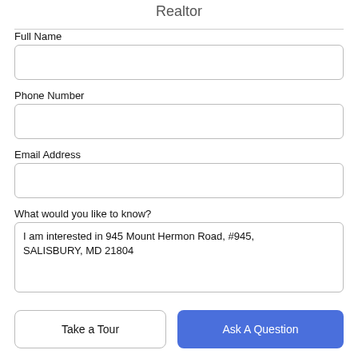Realtor
Full Name
Phone Number
Email Address
What would you like to know?
I am interested in 945 Mount Hermon Road, #945, SALISBURY, MD 21804
Take a Tour
Ask A Question